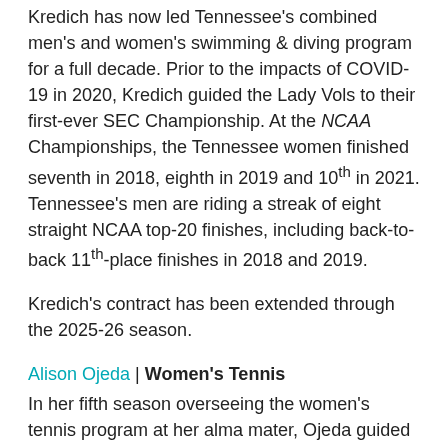Kredich has now led Tennessee's combined men's and women's swimming & diving program for a full decade. Prior to the impacts of COVID-19 in 2020, Kredich guided the Lady Vols to their first-ever SEC Championship. At the NCAA Championships, the Tennessee women finished seventh in 2018, eighth in 2019 and 10th in 2021. Tennessee's men are riding a streak of eight straight NCAA top-20 finishes, including back-to-back 11th-place finishes in 2018 and 2019.
Kredich's contract has been extended through the 2025-26 season.
Alison Ojeda | Women's Tennis
In her fifth season overseeing the women's tennis program at her alma mater, Ojeda guided the Lady Vols to a final ITA ranking of No. 18 this spring—the program's highest year-end ranking since 2011.